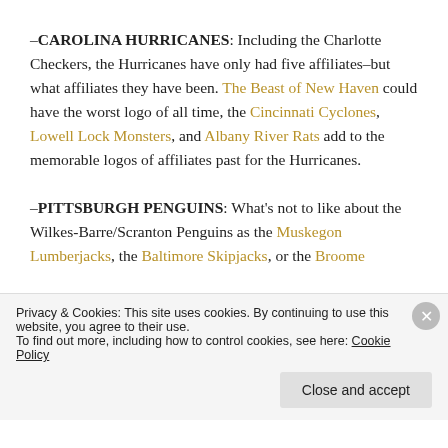–CAROLINA HURRICANES: Including the Charlotte Checkers, the Hurricanes have only had five affiliates–but what affiliates they have been. The Beast of New Haven could have the worst logo of all time, the Cincinnati Cyclones, Lowell Lock Monsters, and Albany River Rats add to the memorable logos of affiliates past for the Hurricanes.
–PITTSBURGH PENGUINS: What's not to like about the Wilkes-Barre/Scranton Penguins as the Muskegon Lumberjacks, the Baltimore Skipjacks, or the Broome...
Privacy & Cookies: This site uses cookies. By continuing to use this website, you agree to their use. To find out more, including how to control cookies, see here: Cookie Policy
Close and accept